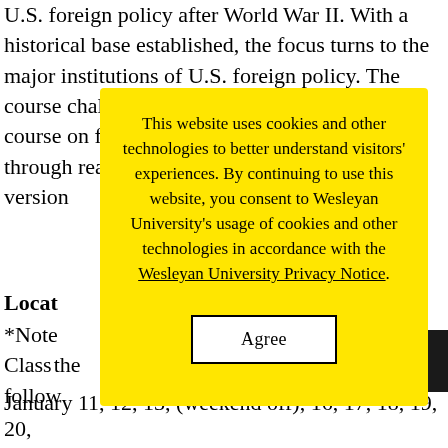U.S. foreign policy after World War II. With a historical base established, the focus turns to the major instit[utions]...y. The c[ourse] challe[nges]...S. decis[ion] cours[e]...gn policy...d to stay c[urrent]...ough readi[ng]...ork Time[s]...on-line v[ersion]
[Figure (other): Cookie consent modal overlay with yellow background. Text reads: 'This website uses cookies and other technologies to better understand visitors' experiences. By continuing to use this website, you consent to Wesleyan University's usage of cookies and other technologies in accordance with the Wesleyan University Privacy Notice.' with an Agree button.]
Locat[ion]
*Note... Class...the follow...
January 11, 12, 13, (weekend off), 16, 17, 18, 19, 20,